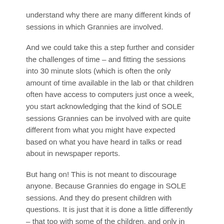understand why there are many different kinds of sessions in which Grannies are involved.
And we could take this a step further and consider the challenges of time – and fitting the sessions into 30 minute slots (which is often the only amount of time available in the lab or that children often have access to computers just once a week, you start acknowledging that the kind of SOLE sessions Grannies can be involved with are quite different from what you might have expected based on what you have heard in talks or read about in newspaper reports.
But hang on! This is not meant to discourage anyone. Because Grannies do engage in SOLE sessions. And they do present children with questions. It is just that it is done a little differently – that too with some of the children, and only in some settings or centres, sometimes. Let's take an example of a couple of